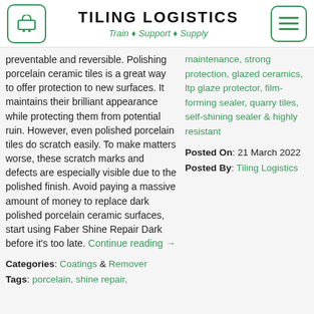TILING LOGISTICS — Train ♦ Support ♦ Supply
preventable and reversible. Polishing porcelain ceramic tiles is a great way to offer protection to new surfaces. It maintains their brilliant appearance while protecting them from potential ruin. However, even polished porcelain tiles do scratch easily. To make matters worse, these scratch marks and defects are especially visible due to the polished finish. Avoid paying a massive amount of money to replace dark polished porcelain ceramic surfaces, start using Faber Shine Repair Dark before it's too late. Continue reading →
maintenance, strong protection, glazed ceramics, ltp glaze protector, film-forming sealer, quarry tiles, self-shining sealer & highly resistant
Posted On: 21 March 2022
Posted By: Tiling Logistics
Categories: Coatings & Remover
Tags: porcelain, shine repair,